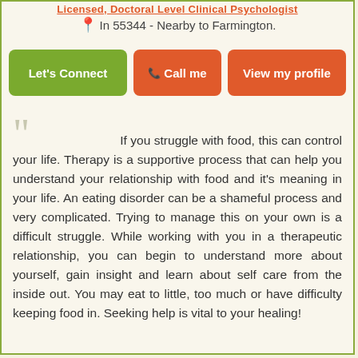Licensed, Doctoral Level Clinical Psychologist
In 55344 - Nearby to Farmington.
Let's Connect | Call me | View my profile
If you struggle with food, this can control your life. Therapy is a supportive process that can help you understand your relationship with food and it's meaning in your life. An eating disorder can be a shameful process and very complicated. Trying to manage this on your own is a difficult struggle. While working with you in a therapeutic relationship, you can begin to understand more about yourself, gain insight and learn about self care from the inside out. You may eat to little, too much or have difficulty keeping food in. Seeking help is vital to your healing!